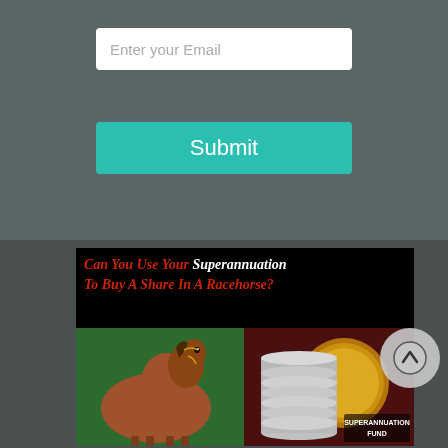Enter your Email
Submit
[Figure (infographic): Promotional banner with black background showing text 'Can You Use Your Superannuation To Buy A Share In A Racehorse?' in red and white italic font. Below are two photos: a brown racehorse on the left and a stack of coins with a clock and 'SUPERANNUATION FUND' text on the right.]